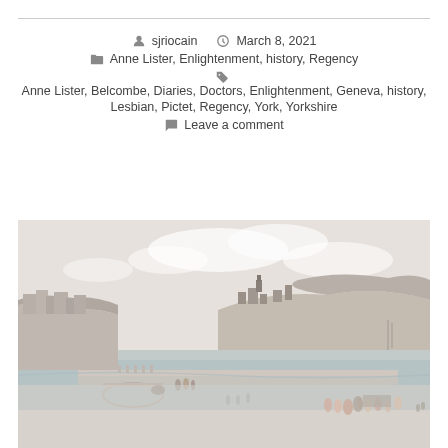sjriocain   March 8, 2021
Anne Lister, Enlightenment, history, Regency
Anne Lister, Belcombe, Diaries, Doctors, Enlightenment, Geneva, history, Lesbian, Pictet, Regency, York, Yorkshire
Leave a comment
[Figure (illustration): Historical watercolour illustration of a coastal town scene, likely Scarborough or similar Yorkshire seaside town, showing cliffs, buildings on a headland, a beach promenade with figures in Regency-era dress, horse-drawn carriages, and calm sea waters.]